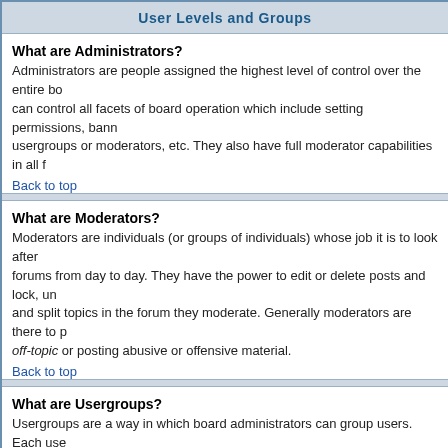User Levels and Groups
What are Administrators?
Administrators are people assigned the highest level of control over the entire board. can control all facets of board operation which include setting permissions, banning usergroups or moderators, etc. They also have full moderator capabilities in all forums.
Back to top
What are Moderators?
Moderators are individuals (or groups of individuals) whose job it is to look after the forums from day to day. They have the power to edit or delete posts and lock, unlock and split topics in the forum they moderate. Generally moderators are there to prevent off-topic or posting abusive or offensive material.
Back to top
What are Usergroups?
Usergroups are a way in which board administrators can group users. Each user can belong to several groups (this differs from most other boards) and each group can be assigned individual access rights. This makes it easy for administrators to set up several users as moderators of a forum, or to give them access to a private forum, etc.
Back to top
How do I join a Usergroup?
To join a usergroup click the usergroup link on the page header (dependent on the style) and you can then view all usergroups. Not all groups are open access -- some are closed and some may even have hidden membership. If the board is open then you can request to join it by clicking the appropriate button.